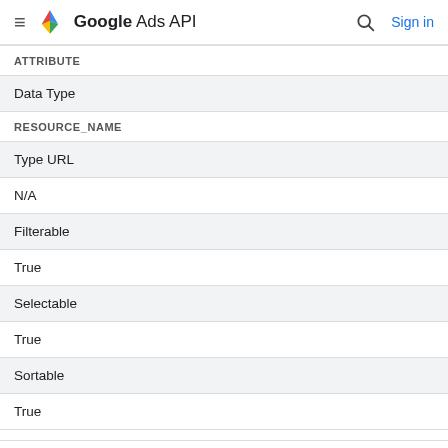Google Ads API
| ATTRIBUTE |
| --- |
| Data Type |
| RESOURCE_NAME |
| Type URL |
| N/A |
| Filterable |
| True |
| Selectable |
| True |
| Sortable |
| True |